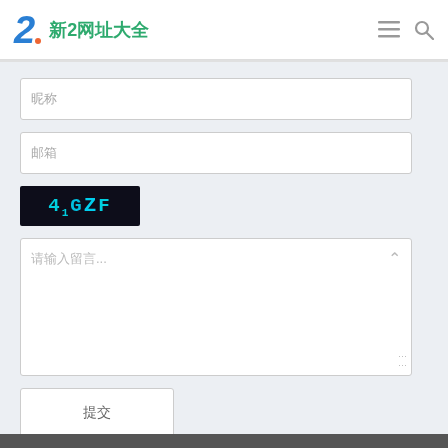新2网址大全
昵称
邮箱
[Figure (other): CAPTCHA image showing '41GZF' in stylized cyan/teal font on black background]
请输入留言...
提交